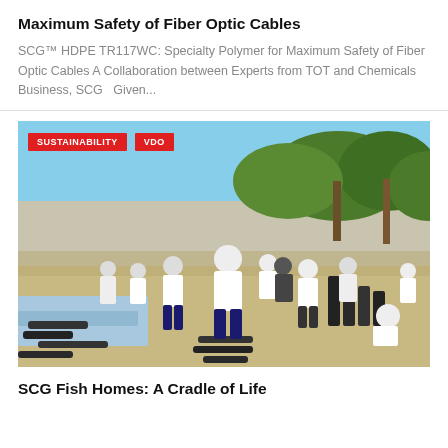Maximum Safety of Fiber Optic Cables
SCG™ HDPE TR117WC: Specialty Polymer for Maximum Safety of Fiber Optic Cables A Collaboration between Experts from TOT and Chemicals Business, SCG   Given...
[Figure (photo): Outdoor beach scene with a large group of people in white t-shirts assembling or arranging black pipes and fittings on sandy ground under trees. Tags: SUSTAINABILITY, VDO]
SCG Fish Homes: A Cradle of Life